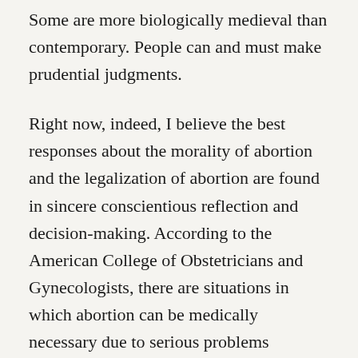Some are more biologically medieval than contemporary. People can and must make prudential judgments.
Right now, indeed, I believe the best responses about the morality of abortion and the legalization of abortion are found in sincere conscientious reflection and decision-making. According to the American College of Obstetricians and Gynecologists, there are situations in which abortion can be medically necessary due to serious problems connected with fetal development or to save the life of the pregnant woman. Then it is indeed a matter of personal conscience and decision-making.